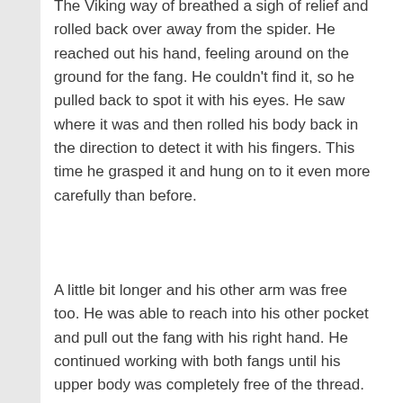The Viking way of breathed a sigh of relief and rolled back over away from the spider. He reached out his hand, feeling around on the ground for the fang. He couldn't find it, so he pulled back to spot it with his eyes. He saw where it was and then rolled his body back in the direction to detect it with his fingers. This time he grasped it and hung on to it even more carefully than before.
A little bit longer and his other arm was free too. He was able to reach into his other pocket and pull out the fang with his right hand. He continued working with both fangs until his upper body was completely free of the thread. And after that, it was a simple matter of tearing away the strands around his legs.